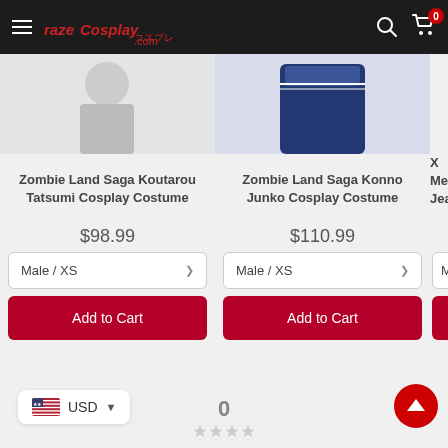Raze Cosplay .com header with hamburger menu, search icon, cart icon with badge 0
[Figure (photo): Partial product image of Zombie Land Saga Koutarou Tatsumi Cosplay Costume]
[Figure (photo): Partial product image of Zombie Land Saga Konno Junko Cosplay Costume, showing navy blue outfit]
Zombie Land Saga Koutarou Tatsumi Cosplay Costume
$98.99
Male / XS
Add to Cart
Zombie Land Saga Konno Junko Cosplay Costume
$110.99
Male / XS
Add to Cart
X Me Jean
Male
USD
0